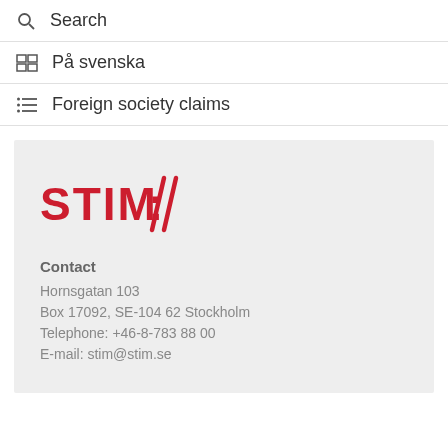Search
På svenska
Foreign society claims
[Figure (logo): STIM logo in red with stylized double-slash symbol]
Contact
Hornsgatan 103
Box 17092, SE-104 62 Stockholm
Telephone: +46-8-783 88 00
E-mail: stim@stim.se